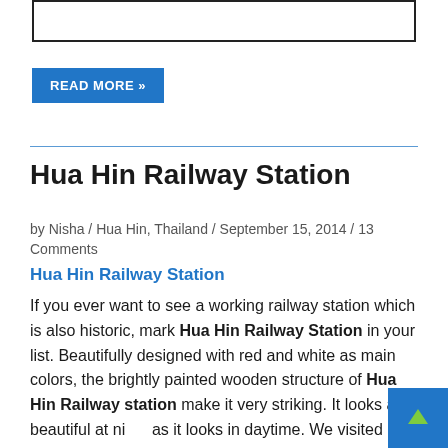[Figure (other): Empty rectangular box at top of page, likely placeholder for an image]
READ MORE »
Hua Hin Railway Station
by Nisha / Hua Hin, Thailand / September 15, 2014 / 13 Comments
Hua Hin Railway Station
If you ever want to see a working railway station which is also historic, mark Hua Hin Railway Station in your list. Beautifully designed with red and white as main colors, the brightly painted wooden structure of Hua Hin Railway station make it very striking. It looks as beautiful at night as it looks in daytime. We visited it at night.